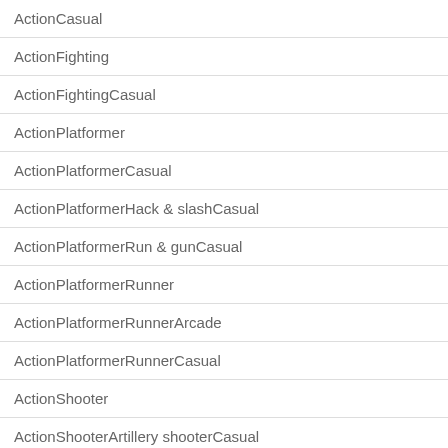| ActionCasual |
| ActionFighting |
| ActionFightingCasual |
| ActionPlatformer |
| ActionPlatformerCasual |
| ActionPlatformerHack & slashCasual |
| ActionPlatformerRun & gunCasual |
| ActionPlatformerRunner |
| ActionPlatformerRunnerArcade |
| ActionPlatformerRunnerCasual |
| ActionShooter |
| ActionShooterArtillery shooterCasual |
| ActionShooterBulletstorm |